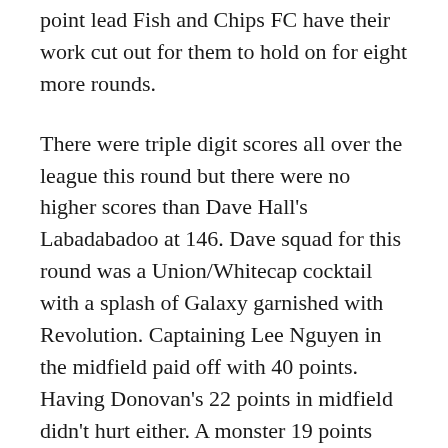point lead Fish and Chips FC have their work cut out for them to hold on for eight more rounds.
There were triple digit scores all over the league this round but there were no higher scores than Dave Hall's Labadabadoo at 146. Dave squad for this round was a Union/Whitecap cocktail with a splash of Galaxy garnished with Revolution. Captaining Lee Nguyen in the midfield paid off with 40 points. Having Donovan's 22 points in midfield didn't hurt either. A monster 19 points from Zac MacMath capped off what was a strong performance from the defenders. Well done to Labadabadoo.
DOWN THE STRETCH
As stated earlier, there are just eight rounds left to play in the regular season. The nitty gritty, pull up your